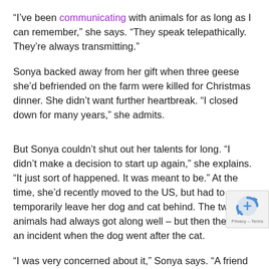“I’ve been communicating with animals for as long as I can remember,” she says. “They speak telepathically. They’re always transmitting.”
Sonya backed away from her gift when three geese she’d befriended on the farm were killed for Christmas dinner. She didn’t want further heartbreak. “I closed down for many years,” she admits.
But Sonya couldn’t shut out her talents for long. “I didn’t make a decision to start up again,” she explains. “It just sort of happened. It was meant to be.” At the time, she’d recently moved to the US, but had to temporarily leave her dog and cat behind. The two animals had always got along well – but then there was an incident when the dog went after the cat.
“I was very concerned about it,” Sonya says. “A friend of m knew an animal communicator, and I talked to her and she it out. Afterwards, I thought to myself: I used to do this at one